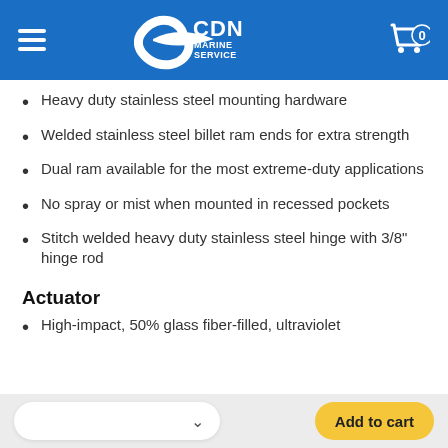CDN Marine Service
Heavy duty stainless steel mounting hardware
Welded stainless steel billet ram ends for extra strength
Dual ram available for the most extreme-duty applications
No spray or mist when mounted in recessed pockets
Stitch welded heavy duty stainless steel hinge with 3/8" hinge rod
Actuator
High-impact, 50% glass fiber-filled, ultraviolet